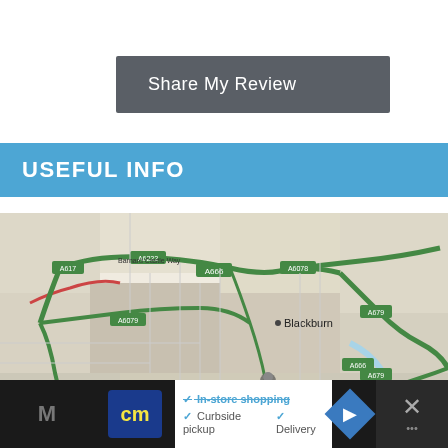Share My Review
USEFUL INFO
[Figure (map): Street map of Blackburn area showing road network including A617, A6222, A666, A6078, A667, A679, A674 roads with green highlighted major routes and city center of Blackburn labeled]
In-store shopping  ✓ Curbside pickup  ✓ Delivery